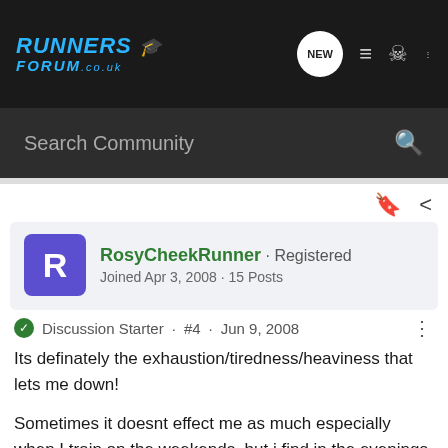RUNNERS FORUM .co.uk
Search Community
RosyCheekRunner · Registered
Joined Apr 3, 2008 · 15 Posts
Discussion Starter · #4 · Jun 9, 2008
Its definately the exhaustion/tiredness/heaviness that lets me down!

Sometimes it doesnt effect me as much especially when I train on the weekends, but i find in the evenings after work - I just really struggle, unless i give it a go in the mornings, (ouchy!) but if i find it tough in the evening it ruins my training ! (cant do it during lunch - we have no showers!)